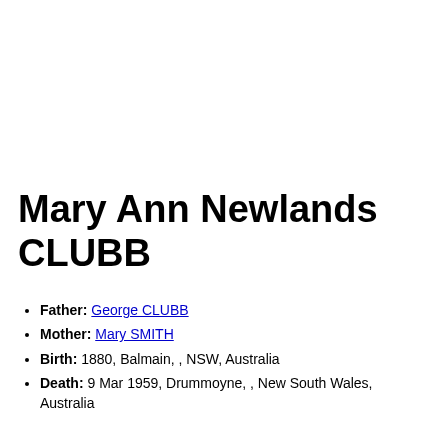Mary Ann Newlands CLUBB
Father: George CLUBB
Mother: Mary SMITH
Birth: 1880, Balmain, , NSW, Australia
Death: 9 Mar 1959, Drummoyne, , New South Wales, Australia